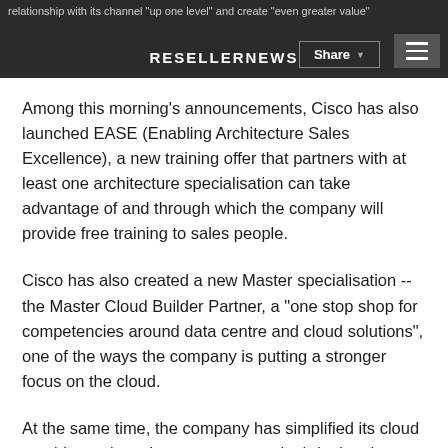relationship with its channel "up one level" and create "even greater value" — RESELLERNEWS — Share ≡
Among this morning's announcements, Cisco has also launched EASE (Enabling Architecture Sales Excellence), a new training offer that partners with at least one architecture specialisation can take advantage of and through which the company will provide free training to sales people.
Cisco has also created a new Master specialisation -- the Master Cloud Builder Partner, a "one stop shop for competencies around data centre and cloud solutions", one of the ways the company is putting a stronger focus on the cloud.
At the same time, the company has simplified its cloud provider and services programmes by bringing them